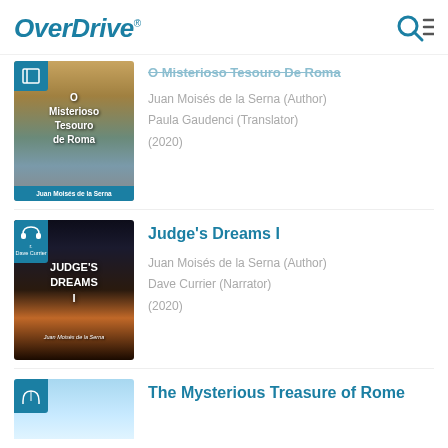OverDrive
[Figure (screenshot): Book cover for O Misterioso Tesouro de Roma showing pyramids and Colosseum with teal banner]
O Misterioso Tesouro de Roma
Juan Moisés de la Serna (Author)
Paula Gaudenci (Translator)
(2020)
[Figure (screenshot): Book cover for Judge's Dreams I showing desert landscape with mesas, dark sky with lightning]
Judge's Dreams I
Juan Moisés de la Serna (Author)
Dave Currier (Narrator)
(2020)
[Figure (screenshot): Book cover for The Mysterious Treasure of Rome showing light blue background, partially visible]
The Mysterious Treasure of Rome